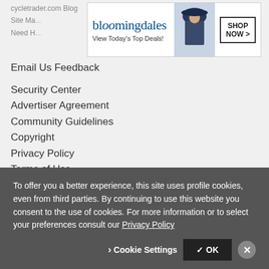cycletrader.com Blog
Site Ma...
Need H...
[Figure (screenshot): Bloomingdale's advertisement banner: 'View Today's Top Deals!' with SHOP NOW > button and fashion photo]
Email Us Feedback
Security Center
Advertiser Agreement
Community Guidelines
Copyright
Privacy Policy
Terms of Use
Cycle Trader Affiliates
To offer you a better experience, this site uses profile cookies, even from third parties. By continuing to use this website you consent to the use of cookies. For more information or to select your preferences consult our Privacy Policy